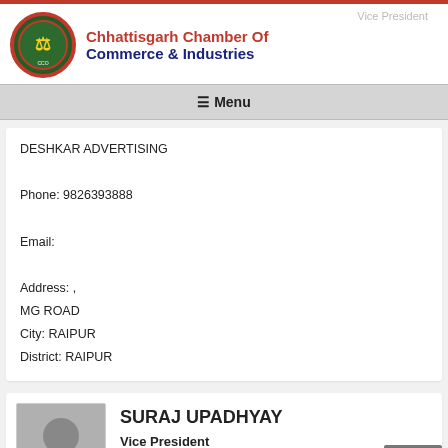Chhattisgarh Chamber Of Commerce & Industries
Vice President
≡ Menu
DESHKAR ADVERTISING
Phone: 9826393888
Email:
Address: ,
MG ROAD
City: RAIPUR
District: RAIPUR
[Figure (photo): Silhouette avatar placeholder image of a person]
SURAJ UPADHYAY
Vice President